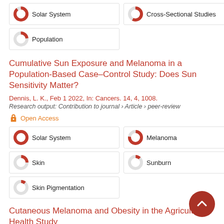Solar System
Cross-Sectional Studies
Population
Cumulative Sun Exposure and Melanoma in a Population-Based Case–Control Study: Does Sun Sensitivity Matter?
Dennis, L. K., Feb 1 2022, In: Cancers. 14, 4, 1008.
Research output: Contribution to journal › Article › peer-review
Open Access
Solar System
Melanoma
Skin
Sunburn
Skin Pigmentation
Cutaneous Melanoma and Obesity in the Agricultural Health Study